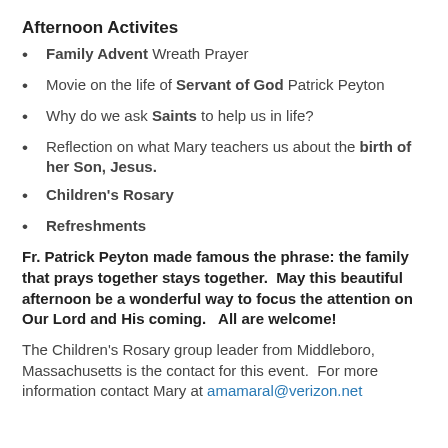Afternoon Activites
Family Advent Wreath Prayer
Movie on the life of Servant of God Patrick Peyton
Why do we ask Saints to help us in life?
Reflection on what Mary teachers us about the birth of her Son, Jesus.
Children's Rosary
Refreshments
Fr. Patrick Peyton made famous the phrase: the family that prays together stays together.  May this beautiful afternoon be a wonderful way to focus the attention on Our Lord and His coming.   All are welcome!
The Children's Rosary group leader from Middleboro, Massachusetts is the contact for this event.  For more information contact Mary at amamaral@verizon.net